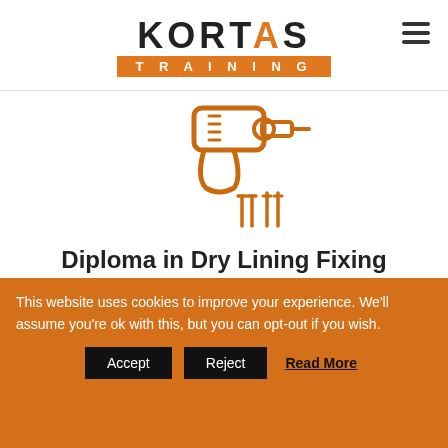[Figure (logo): Kortas Training logo: bold black text KORTAS with orange A, below orange banner reading TRAINING in white spaced letters]
[Figure (illustration): Orange line-art icon of a power drill with screwdriver bits and screws]
Diploma in Dry Lining Fixing
NVQ LEVEL 2
This website uses cookies to improve your experience. We'll assume you're ok with this, but you can opt-out if you wish.
Accept | Reject | Read More